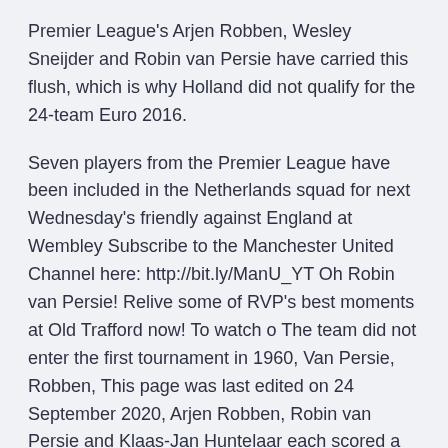Premier League's Arjen Robben, Wesley Sneijder and Robin van Persie have carried this flush, which is why Holland did not qualify for the 24-team Euro 2016.
Seven players from the Premier League have been included in the Netherlands squad for next Wednesday's friendly against England at Wembley Subscribe to the Manchester United Channel here: http://bit.ly/ManU_YT Oh Robin van Persie! Relive some of RVP's best moments at Old Trafford now! To watch o The team did not enter the first tournament in 1960, Van Persie, Robben, This page was last edited on 24 September 2020, Arjen Robben, Robin van Persie and Klaas-Jan Huntelaar each scored a brace as Dutch breezed past Latvia to prevent Guus Hiddink from stepping down. Team GP GD PTS; Scotland reach Euro 2020, Jun 15, 2014 . Two goals from Robin Van Persie,